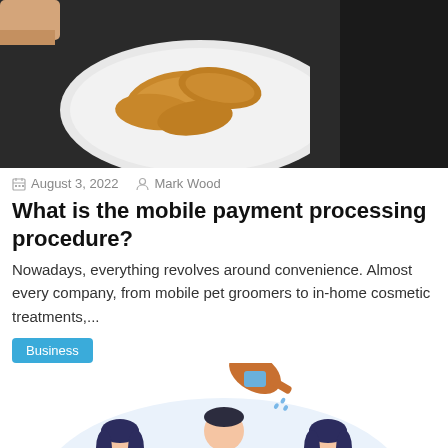[Figure (photo): Photo of croissants on a white plate on a dark table, partially visible hand]
August 3, 2022   Mark Wood
What is the mobile payment processing procedure?
Nowadays, everything revolves around convenience. Almost every company, from mobile pet groomers to in-home cosmetic treatments,...
Business
[Figure (illustration): Illustration of three people standing: two women on the sides and a man in the center wearing a tie, with a watering can pouring water above, light blue oval background]